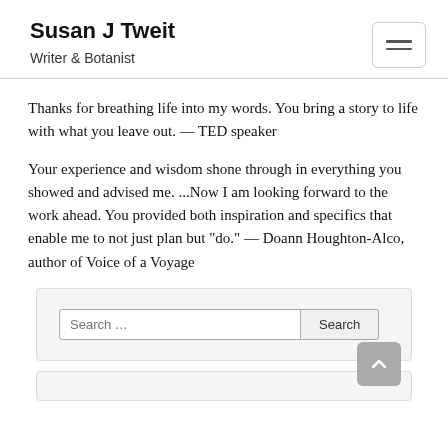Susan J Tweit
Writer & Botanist
Thanks for breathing life into my words. You bring a story to life with what you leave out. — TED speaker
Your experience and wisdom shone through in everything you showed and advised me. ...Now I am looking forward to the work ahead. You provided both inspiration and specifics that enable me to not just plan but "do." — Doann Houghton-Alco, author of Voice of a Voyage